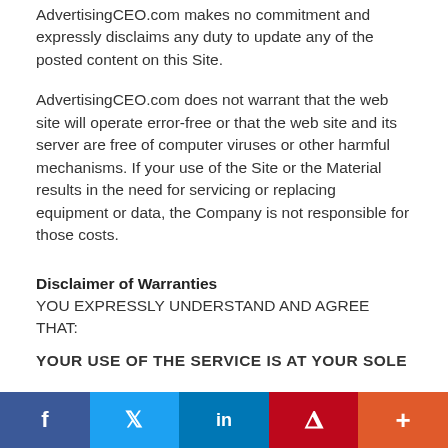AdvertisingCEO.com makes no commitment and expressly disclaims any duty to update any of the posted content on this Site.
AdvertisingCEO.com does not warrant that the web site will operate error-free or that the web site and its server are free of computer viruses or other harmful mechanisms. If your use of the Site or the Material results in the need for servicing or replacing equipment or data, the Company is not responsible for those costs.
Disclaimer of Warranties
YOU EXPRESSLY UNDERSTAND AND AGREE THAT:
YOUR USE OF THE SERVICE IS AT YOUR SOLE